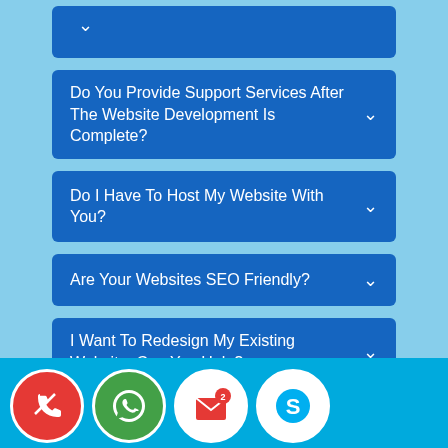v
Do You Provide Support Services After The Website Development Is Complete? v
Do I Have To Host My Website With You? v
Are Your Websites SEO Friendly? v
I Want To Redesign My Existing Website. Can You Help? v
Can I Check Samples Of A Few Websites Designed By You? v
[Figure (infographic): Footer bar with four circular icon buttons: phone (red), WhatsApp (green), email with badge showing 2 (red envelope), Skype (blue)]